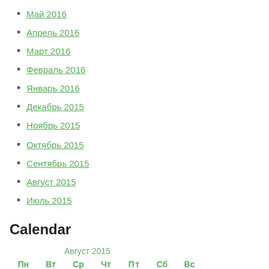Май 2016
Апрель 2016
Март 2016
Февраль 2016
Январь 2016
Декабрь 2015
Ноябрь 2015
Октябрь 2015
Сентябрь 2015
Август 2015
Июль 2015
Calendar
| Пн | Вт | Ср | Чт | Пт | Сб | Вс |
| --- | --- | --- | --- | --- | --- | --- |
|  |  |  |  |  | 1 | 2 |
| 3 | 4 | 5 | 6 | 7 | 8 | 9 |